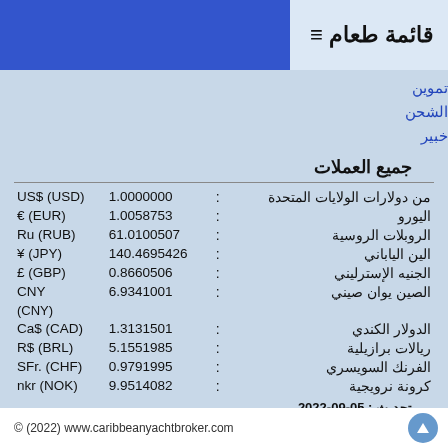قائمة طعام ≡
تموين
الشحن
خبير
جميع العملات
| الاسم | : | القيمة | العملة |
| --- | --- | --- | --- |
| من دولارات الولايات المتحدة | : | 1.0000000 | US$ (USD) |
| اليورو | : | 1.0058753 | € (EUR) |
| الروبلات الروسية | : | 61.0100507 | Ru (RUB) |
| الين الياباني | : | 140.4695426 | ¥ (JPY) |
| الجنيه الإسترليني | : | 0.8660506 | £ (GBP) |
| الصين يوان صيني | : | 6.9341001 | CNY (CNY) |
| الدولار الكندي | : | 1.3131501 | Ca$ (CAD) |
| ريالات برازيلية | : | 5.1551985 | R$ (BRL) |
| الفرنك السويسري | : | 0.9791995 | SFr. (CHF) |
| كرونة نرويجية | : | 9.9514082 | nkr (NOK) |
تحديث : 05-09-2022
© (2022) www.caribbeanyachtbroker.com